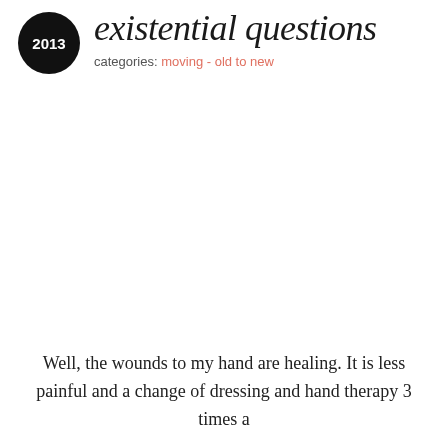existential questions
categories: moving - old to new
Well, the wounds to my hand are healing. It is less painful and a change of dressing and hand therapy 3 times a